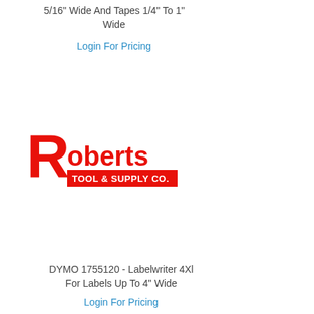5/16" Wide And Tapes 1/4" To 1" Wide
Login For Pricing
[Figure (logo): Roberts Tool & Supply Co. logo — large red R followed by 'oberts' in red, with 'TOOL & SUPPLY CO.' on a red banner beneath]
DYMO 1755120 - Labelwriter 4Xl For Labels Up To 4" Wide
Login For Pricing